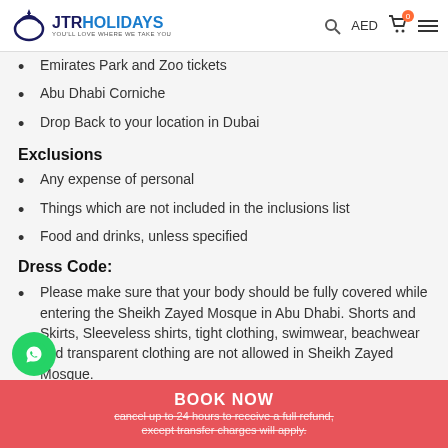JTR HOLIDAYS - YOU'LL LOVE WHERE WE TAKE YOU | AED | Cart: 0
Emirates Park and Zoo tickets
Abu Dhabi Corniche
Drop Back to your location in Dubai
Exclusions
Any expense of personal
Things which are not included in the inclusions list
Food and drinks, unless specified
Dress Code:
Please make sure that your body should be fully covered while entering the Sheikh Zayed Mosque in Abu Dhabi. Shorts and Skirts, Sleeveless shirts, tight clothing, swimwear, beachwear and transparent clothing are not allowed in Sheikh Zayed Mosque.
Cancellation Policy:
Cancel up to 24 hours to receive a full refund, except transfer charges will apply.